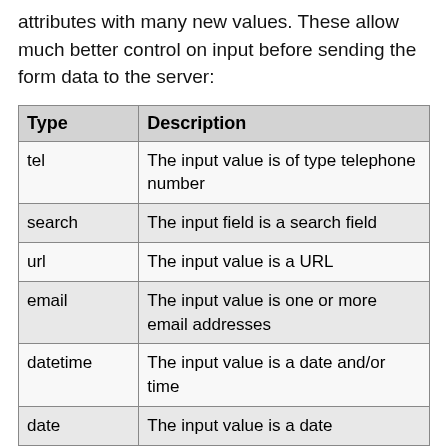attributes with many new values. These allow much better control on input before sending the form data to the server:
| Type | Description |
| --- | --- |
| tel | The input value is of type telephone number |
| search | The input field is a search field |
| url | The input value is a URL |
| email | The input value is one or more email addresses |
| datetime | The input value is a date and/or time |
| date | The input value is a date |